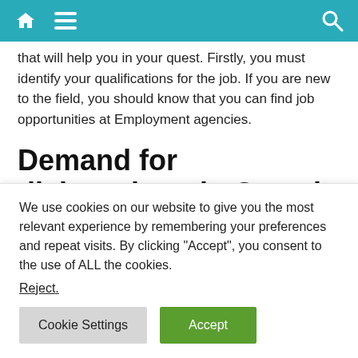Navigation bar with home, menu, and search icons
that will help you in your quest. Firstly, you must identify your qualifications for the job. If you are new to the field, you should know that you can find job opportunities at Employment agencies.
Demand for dishwashers in Canada
The growing demand for smart home appliances is driving the demand for dishwashers in Canada. Moreover, technologically
We use cookies on our website to give you the most relevant experience by remembering your preferences and repeat visits. By clicking “Accept”, you consent to the use of ALL the cookies.
Reject.
Cookie Settings  Accept